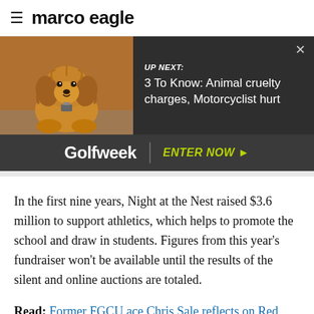≡ marco eagle
[Figure (screenshot): Video overlay panel showing a fluffy golden doodle dog thumbnail on dark background with text 'UP NEXT: 3 To Know: Animal cruelty charges, Motorcyclist hurt' and a close X button]
[Figure (infographic): Golfweek advertisement banner on dark background with white Golfweek logo, divider, and yellow-green 'ENTER NOW ►' call to action]
In the first nine years, Night at the Nest raised $3.6 million to support athletics, which helps to promote the school and draw in students. Figures from this year's fundraiser won't be available until the results of the silent and online auctions are totaled.
Read: Former FGCU ace Chris Sale reflects on Red